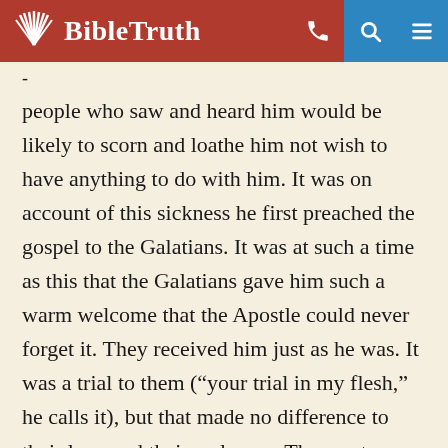BibleTruth
- people who saw and heard him would be likely to scorn and loathe him not wish to have anything to do with him. It was on account of this sickness he first preached the gospel to the Galatians. It was at such a time as this that the Galatians gave him such a warm welcome that the Apostle could never forget it. They received him just as he was. It was a trial to them (“your trial in my flesh,” he calls it), but that made no difference to their love and their welcome. The most precious things they possessed, even their eyes, they would have dug out and given him if they